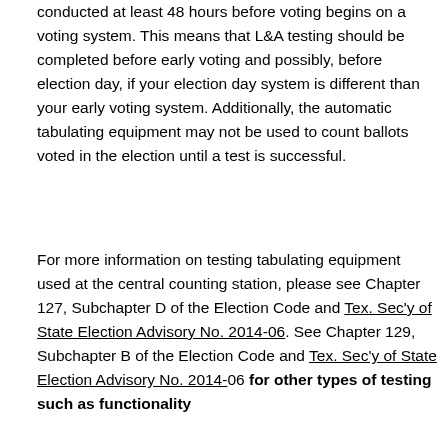conducted at least 48 hours before voting begins on a voting system. This means that L&A testing should be completed before early voting and possibly, before election day, if your election day system is different than your early voting system. Additionally, the automatic tabulating equipment may not be used to count ballots voted in the election until a test is successful.
For more information on testing tabulating equipment used at the central counting station, please see Chapter 127, Subchapter D of the Election Code and Tex. Sec'y of State Election Advisory No. 2014-06. See Chapter 129, Subchapter B of the Election Code and Tex. Sec'y of State Election Advisory No. 2014-06 for other types of testing such as functionality